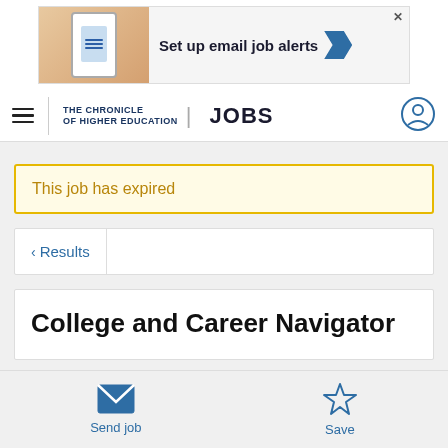[Figure (screenshot): Advertisement banner for email job alerts with phone graphic and blue arrow button]
THE CHRONICLE OF HIGHER EDUCATION | JOBS
This job has expired
< Results
College and Career Navigator
Send job
Save